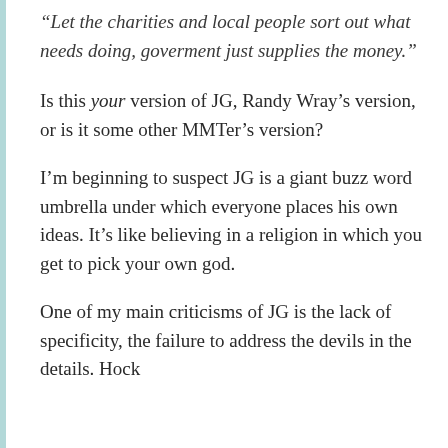“Let the charities and local people sort out what needs doing, goverment just supplies the money.”
Is this your version of JG, Randy Wray’s version, or is it some other MMTer’s version?
I’m beginning to suspect JG is a giant buzz word umbrella under which everyone places his own ideas. It’s like believing in a religion in which you get to pick your own god.
One of my main criticisms of JG is the lack of specificity, the failure to address the devils in the details. Hock